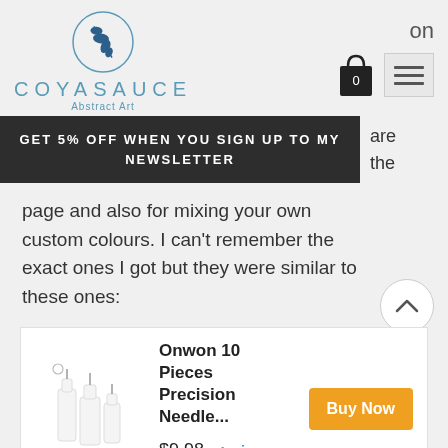[Figure (logo): Coyasauce Abstract Art logo with a circular branch/leaf icon in blue and the text COYASAUCE Abstract Art]
on
GET 5% OFF WHEN YOU SIGN UP TO MY NEWSLETTER
are
the
page and also for mixing your own custom colours. I can't remember the exact ones I got but they were similar to these ones:
[Figure (photo): Product image showing Onwon 10 Pieces Precision Needle bottles]
Onwon 10 Pieces Precision Needle...
$9.98 prime
Rated 4.6 out of 5
Buy Now